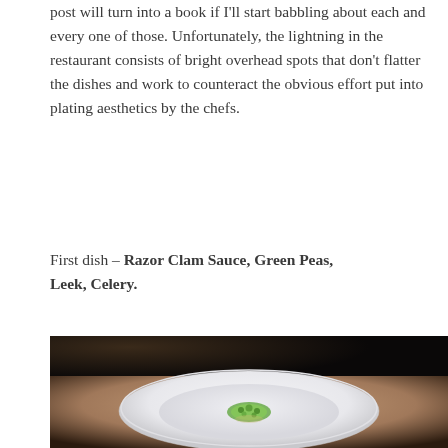post will turn into a book if I'll start babbling about each and every one of those. Unfortunately, the lightning in the restaurant consists of bright overhead spots that don't flatter the dishes and work to counteract the obvious effort put into plating aesthetics by the chefs.
First dish – Razor Clam Sauce, Green Peas, Leek, Celery.
[Figure (photo): A white plate with a small portion of green peas dish in the center, photographed from above on a wooden table surface, with dark background and overhead lighting.]